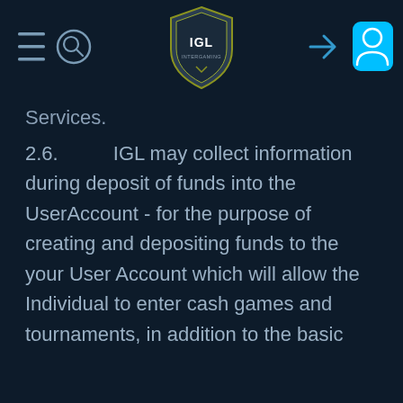[Figure (screenshot): IGL Intergaming website navigation bar with hamburger menu, search icon, IGL shield logo in center, login arrow icon, and blue user profile button on the right]
Services.
2.6.          IGL may collect information during deposit of funds into the UserAccount - for the purpose of creating and depositing funds to the your User Account which will allow the Individual to enter cash games and tournaments, in addition to the basic